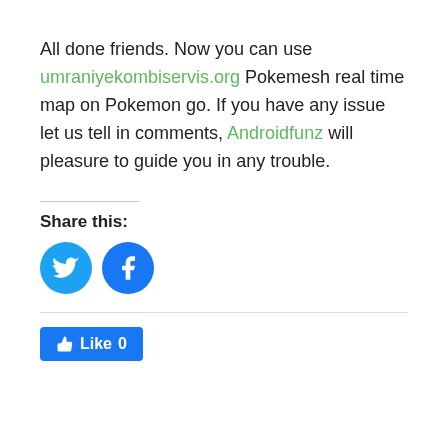All done friends. Now you can use umraniyekombiservis.org Pokemesh real time map on Pokemon go. If you have any issue let us tell in comments, Androidfunz will pleasure to guide you in any trouble.
Share this:
[Figure (other): Twitter and Facebook social share icon buttons (blue circles with bird and F icons)]
[Figure (other): Facebook Like button with thumbs up icon showing Like 0]